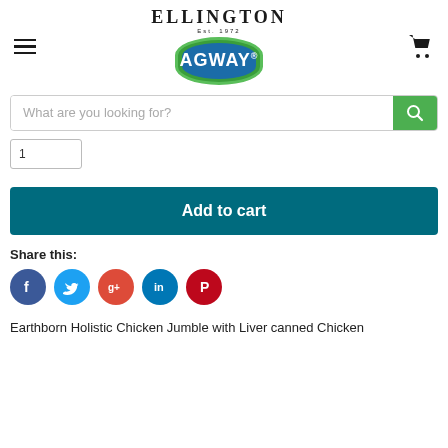[Figure (logo): Ellington Est. 1972 Agway logo - dark text Ellington above a blue oval badge with AGWAY in white, surrounded by green oval border]
[Figure (other): Shopping cart icon top right]
What are you looking for?
[Figure (other): Quantity input box with value 1]
Add to cart
Share this:
[Figure (other): Social media icons: Facebook (blue), Twitter (light blue), Google+ (red), LinkedIn (teal), Pinterest (dark red)]
Earthborn Holistic Chicken Jumble with Liver canned Chicken